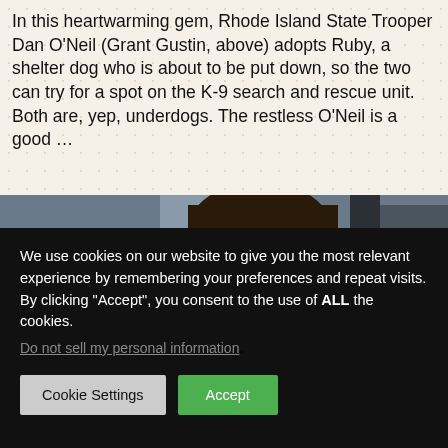In this heartwarming gem, Rhode Island State Trooper Dan O’Neil (Grant Gustin, above) adopts Ruby, a shelter dog who is about to be put down, so the two can try for a spot on the K-9 search and rescue unit. Both are, yep, underdogs. The restless O’Neil is a good …
[Figure (photo): A man (Grant Gustin) looking downward, wearing a dark jacket, photographed from the side in a muted outdoor setting.]
We use cookies on our website to give you the most relevant experience by remembering your preferences and repeat visits. By clicking “Accept”, you consent to the use of ALL the cookies.
Do not sell my personal information.
Cookie Settings
Accept